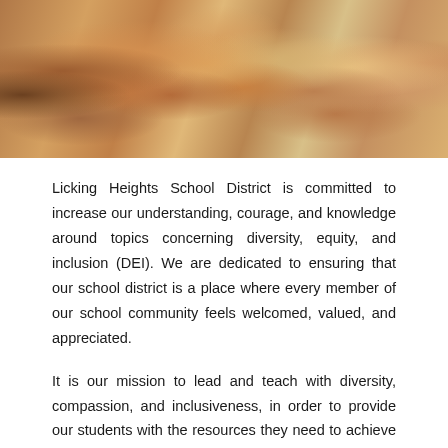[Figure (photo): Artistic photograph of multiple human face silhouettes/profiles made from textured, layered paper or fabric in various earth tones — browns, oranges, pinks, and tans — representing diversity.]
Licking Heights School District is committed to increase our understanding, courage, and knowledge around topics concerning diversity, equity, and inclusion (DEI). We are dedicated to ensuring that our school district is a place where every member of our school community feels welcomed, valued, and appreciated.
It is our mission to lead and teach with diversity, compassion, and inclusiveness, in order to provide our students with the resources they need to achieve success.
Supervisor of DEI, Mr. Corey Stroud